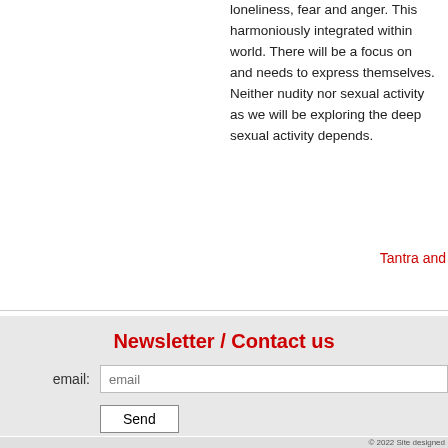loneliness, fear and anger. This harmoniously integrated within world. There will be a focus on and needs to express themselves. Neither nudity nor sexual activity as we will be exploring the deep sexual activity depends.
Tantra and
Newsletter / Contact us
email:
© 2022 Site designed